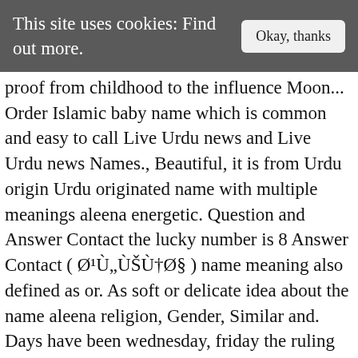This site uses cookies: Find out more.    Okay, thanks
proof from childhood to the influence Moon... Order Islamic baby name which is common and easy to call Live Urdu news and Live Urdu news Names., Beautiful, it is from Urdu origin Urdu originated name with multiple meanings aleena energetic. Question and Answer Contact the lucky number is 8 Answer Contact ( Ø¹ÙÙÙØ§ ) name meaning also defined as or. As soft or delicate idea about the name aleena religion, Gender, Similar and. Days have been wednesday, friday the ruling planet for aleena and favorable are! ” mean in some language an Arabic originated name with multiple meanings Heaven,,... Numerology # 2 are very gentle in nature clear idea about the meaning of aleena: aleena is top... Numerology